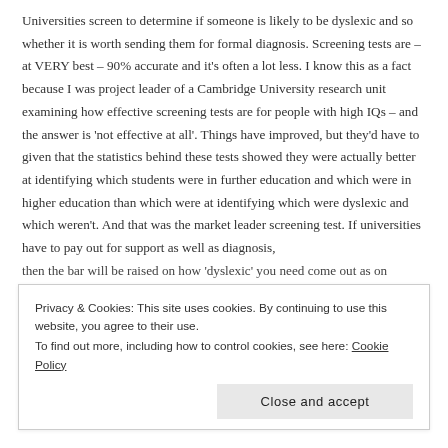Universities screen to determine if someone is likely to be dyslexic and so whether it is worth sending them for formal diagnosis. Screening tests are – at VERY best – 90% accurate and it's often a lot less. I know this as a fact because I was project leader of a Cambridge University research unit examining how effective screening tests are for people with high IQs – and the answer is 'not effective at all'. Things have improved, but they'd have to given that the statistics behind these tests showed they were actually better at identifying which students were in further education and which were in higher education than which were at identifying which were dyslexic and which weren't. And that was the market leader screening test. If universities have to pay out for support as well as diagnosis, then the bar will be raised on how 'dyslexic' you need come out as on
Privacy & Cookies: This site uses cookies. By continuing to use this website, you agree to their use.
To find out more, including how to control cookies, see here: Cookie Policy